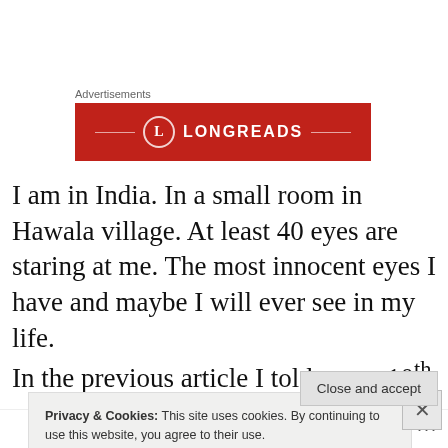Advertisements
[Figure (logo): Longreads advertisement banner — dark red background with a circular 'L' logo and the word LONGREADS in white capital letters, flanked by decorative horizontal lines and a partial rectangular border]
I am in India. In a small room in Hawala village. At least 40 eyes are staring at me. The most innocent eyes I have and maybe I will ever see in my life.
In the previous article I told you – 10th of August is the day
Privacy & Cookies: This site uses cookies. By continuing to use this website, you agree to their use.
To find out more, including how to control cookies, see here: Cookie Policy
Close and accept
Follow